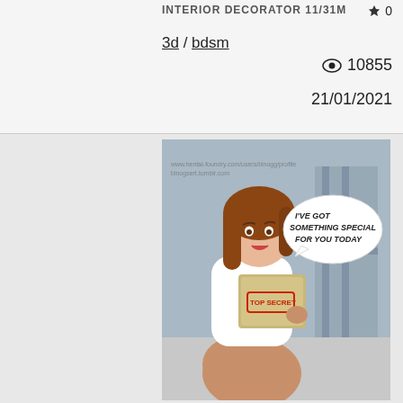INTERIOR DECORATOR 11/31M
0
3d / bdsm
10855
21/01/2021
[Figure (illustration): Animated/cartoon style illustration of a woman with auburn hair wearing a white jacket, holding a folder stamped TOP SECRET, with a speech bubble reading I'VE GOT SOMETHING SPECIAL FOR YOU TODAY]